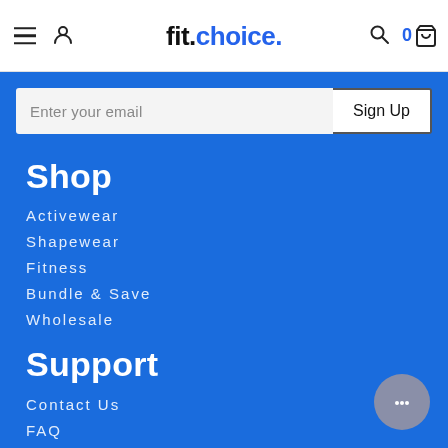fit.choice. navigation bar with hamburger menu, user icon, logo, search icon, and cart (0)
Enter your email
Sign Up
Shop
Activewear
Shapewear
Fitness
Bundle & Save
Wholesale
Support
Contact Us
FAQ
Refund Policy
Track Your Order